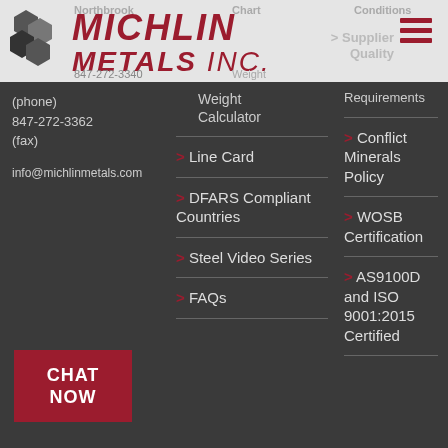[Figure (logo): Michlin Metals Inc. logo with hexagonal metal shapes icon and italic red text]
Northbrook
Chart
Conditions
> Supplier Quality Requirements
847-272-3340 (phone)
847-272-3362 (fax)
info@michlinmetals.com
Weight Calculator
> Line Card
> DFARS Compliant Countries
> Steel Video Series
> FAQs
> Conflict Minerals Policy
> WOSB Certification
> AS9100D and ISO 9001:2015 Certified
CHAT NOW